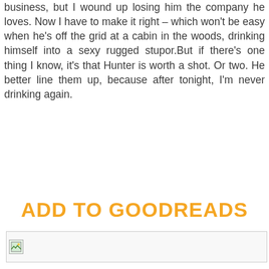business, but I wound up losing him the company he loves. Now I have to make it right – which won't be easy when he's off the grid at a cabin in the woods, drinking himself into a sexy rugged stupor.But if there's one thing I know, it's that Hunter is worth a shot. Or two. He better line them up, because after tonight, I'm never drinking again.
ADD TO GOODREADS
[Figure (photo): Broken/placeholder image icon at the top-left of an image area with a horizontal line extending to the right]